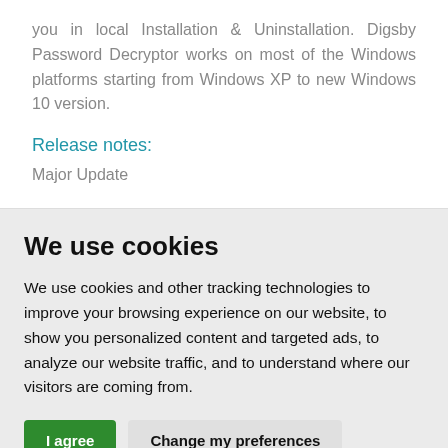you in local Installation & Uninstallation. Digsby Password Decryptor works on most of the Windows platforms starting from Windows XP to new Windows 10 version.
Release notes:
Major Update
We use cookies
We use cookies and other tracking technologies to improve your browsing experience on our website, to show you personalized content and targeted ads, to analyze our website traffic, and to understand where our visitors are coming from.
I agree  Change my preferences